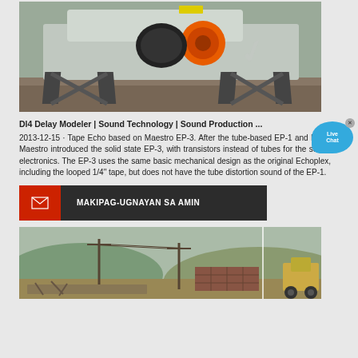[Figure (photo): Industrial heavy machinery (impact crusher or similar) with orange circular component and metal frame structure, photographed outdoors]
Dl4 Delay Modeler | Sound Technology | Sound Production ...
2013-12-15 · Tape Echo based on Maestro EP-3. After the tube-based EP-1 and EP-2, Maestro introduced the solid state EP-3, with transistors instead of tubes for the sound electronics. The EP-3 uses the same basic mechanical design as the original Echoplex, including the looped 1/4" tape, but does not have the tube distortion sound of the EP-1.
[Figure (infographic): Contact bar with red envelope icon on left and text MAKIPAG-UGNAYAN SA AMIN on dark background]
[Figure (photo): Outdoor construction or quarry site with machinery, utility poles, hills in background]